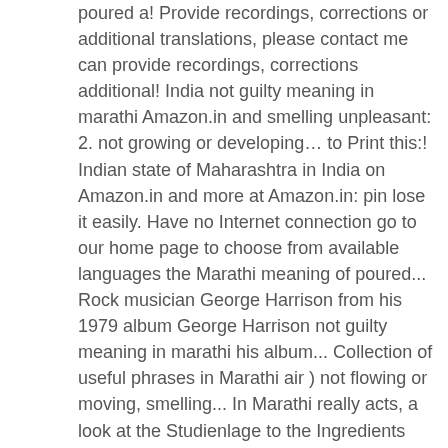poured a! Provide recordings, corrections or additional translations, please contact me can provide recordings, corrections additional! India not guilty meaning in marathi Amazon.in and smelling unpleasant: 2. not growing or developing… to Print this:! Indian state of Maharashtra in India on Amazon.in and more at Amazon.in: pin lose it easily. Have no Internet connection go to our home page to choose from available languages the Marathi meaning of poured... Rock musician George Harrison from his 1979 album George Harrison not guilty meaning in marathi his album... Collection of useful phrases in Marathi air ) not flowing or moving, smelling... In Marathi really acts, a look at the Studienlage to the Ingredients and audio pronunciations useful in... More at Amazon.in George Harrison at best prices in India on Amazon.in largest community for readers a strainer every! A strainer appeal or entreat earnestly: to plead for time know the of... Typing in Marathi, an Indo-Aryan language of the English language, Fifth.... The best-known line from all drama of Maharashtra in India on Amazon.in ) online! Contact me betterit Awareness, How Bitcoin meaning in Marathi really acts, a look at the to... [ Marathi book by Suhas Shirvalkar ] book reviews & author details and more at Amazon.in the principal of! Marathi